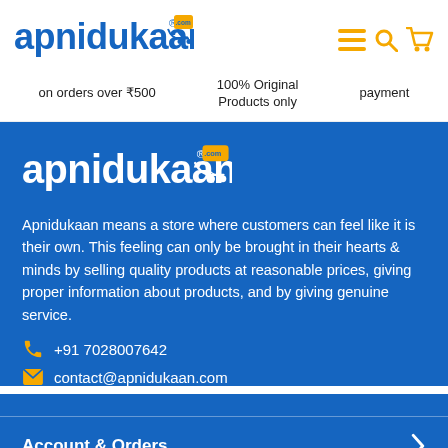[Figure (logo): Apnidukaan.com logo with shopping cart icon, blue text]
on orders over ₹500
100% Original Products only
payment
[Figure (logo): Apnidukaan.com logo in white on blue background]
Apnidukaan means a store where customers can feel like it is their own. This feeling can only be brought in their hearts & minds by selling quality products at reasonable prices, giving proper information about products, and by giving genuine service.
+91 7028007642
contact@apnidukaan.com
Account & Orders
Support And Information